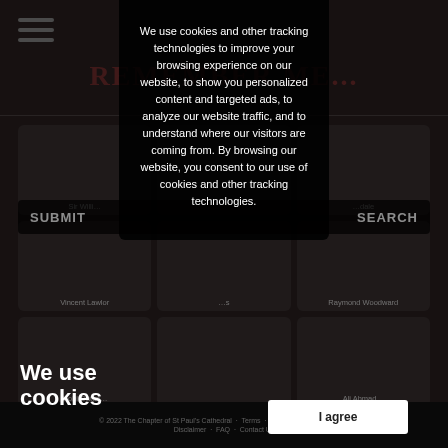[Figure (screenshot): Website background showing a grid of thumbnail cards with person photos, site title 'REMEMBER ME...' in red serif font, hamburger menu icon, submit/search bar, and page footer. Overlaid by a cookie consent modal.]
We use cookies
We use cookies and other tracking technologies to improve your browsing experience on our website, to show you personalized content and targeted ads, to analyze our website traffic, and to understand where our visitors are coming from. By browsing our website, you consent to our use of cookies and other tracking technologies.
I agree
© 2022 The Chapter of St Paul's Cathedral · Terms · Privacy Policy · Cookies · Disclaimer · FAQ · Contact Us